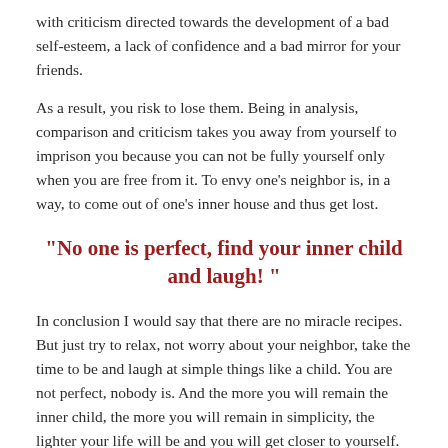with criticism directed towards the development of a bad self-esteem, a lack of confidence and a bad mirror for your friends.
As a result, you risk to lose them. Being in analysis, comparison and criticism takes you away from yourself to imprison you because you can not be fully yourself only when you are free from it. To envy one’s neighbor is, in a way, to come out of one’s inner house and thus get lost.
“No one is perfect, find your inner child and laugh! ”
In conclusion I would say that there are no miracle recipes. But just try to relax, not worry about your neighbor, take the time to be and laugh at simple things like a child. You are not perfect, nobody is. And the more you will remain the inner child, the more you will remain in simplicity, the lighter your life will be and you will get closer to yourself.
“We attract what we are”